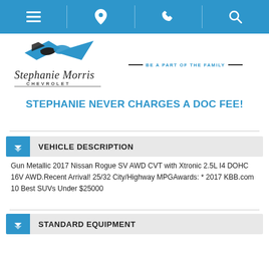Navigation bar with menu, location, phone, and search icons
[Figure (logo): Stephanie Morris Chevrolet logo with bowtie emblem and tagline BE A PART OF THE FAMILY]
STEPHANIE NEVER CHARGES A DOC FEE!
VEHICLE DESCRIPTION
Gun Metallic 2017 Nissan Rogue SV AWD CVT with Xtronic 2.5L I4 DOHC 16V AWD.Recent Arrival! 25/32 City/Highway MPGAwards: * 2017 KBB.com 10 Best SUVs Under $25000
STANDARD EQUIPMENT